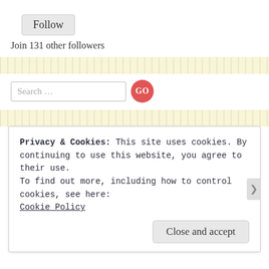Follow
Join 131 other followers
Search ...
Recent Posts
The Hard Truth about Severe Depression and Migraines
Great Article about the Stigma of Chronic Migraine Suffers
I'm Back and I'm feeling great...temporarily that is!
Privacy & Cookies: This site uses cookies. By continuing to use this website, you agree to their use.
To find out more, including how to control cookies, see here:
Cookie Policy
Close and accept